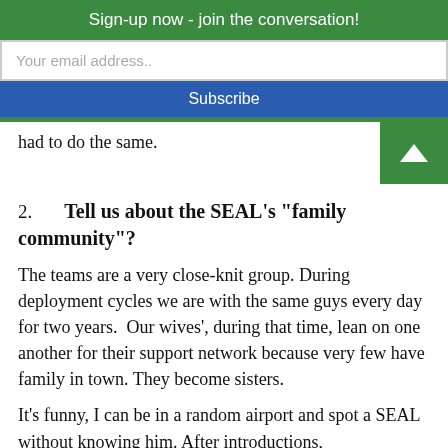Sign-up now - join the conversation!
Your email address..
Subscribe
had to do the same.
2. Tell us about the SEAL’s “family community”?
The teams are a very close-knit group. During deployment cycles we are with the same guys every day for two years.  Our wives’, during that time, lean on one another for their support network because very few have family in town. They become sisters.
It’s funny, I can be in a random airport and spot a SEAL without knowing him. After introductions,